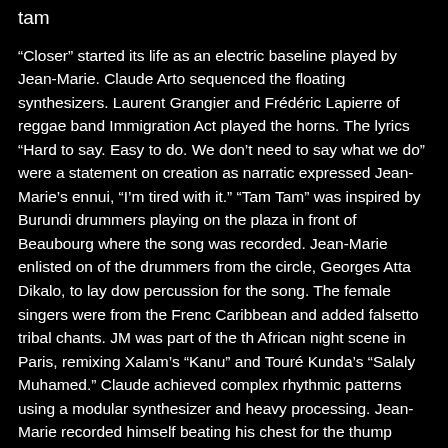tam
“Closer” started its life as an electric baseline played by Jean-Marie. Claude Arto sequenced the floating synthesizers. Laurent Grangier and Frédéric Lapierre of reggae band Immigration Act played the horns. The lyrics “Hard to say. Easy to do. We don’t need to say what we do” were a statement on creation as narration expressed Jean-Marie’s ennui, “I’m tired with it.” “Tam Tam” was inspired by Burundi drummers playing on the plaza in front of Beaubourg where the song was recorded. Jean-Marie enlisted one of the drummers from the circle, Georges Atta Dikalo, to lay down percussion for the song. The female singers were from the French Caribbean and added falsetto tribal chants. JM was part of the the African night scene in Paris, remixing Xalam’s “Kanu” and Touré Kunda’s “Salaly Muhamed.” Claude achieved complex rhythmic patterns using a modular synthesizer and heavy processing. Jean-Marie recorded himself beating his chest for the thump noises. The recording of “Tam Tam” and “Closer” spanned over two years. They started on 16-track in Studio d’Auteuil, where JM blew the woofers, before resuming in Studio Centre Georges Pompidou with an added 8-track recorder. Jean-Marie was producing other bands, and a lot of this was recorded on “borrowed” studio time. They independently released in 1981 a West African Musician’s